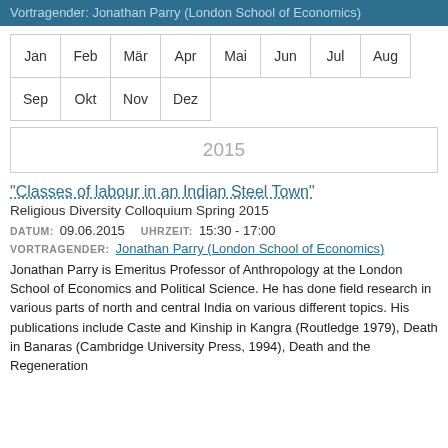Vortragender: Jonathan Parry (London School of Economics)
| Jan | Feb | Mär | Apr | Mai | Jun | Jul | Aug |
| --- | --- | --- | --- | --- | --- | --- | --- |
| Sep | Okt | Nov | Dez |  |  |  |  |
2015
"Classes of labour in an Indian Steel Town"
Religious Diversity Colloquium Spring 2015
DATUM: 09.06.2015   UHRZEIT: 15:30 - 17:00
VORTRAGENDER: Jonathan Parry (London School of Economics)
Jonathan Parry is Emeritus Professor of Anthropology at the London School of Economics and Political Science. He has done field research in various parts of north and central India on various different topics. His publications include Caste and Kinship in Kangra (Routledge 1979), Death in Banaras (Cambridge University Press, 1994), Death and the Regeneration